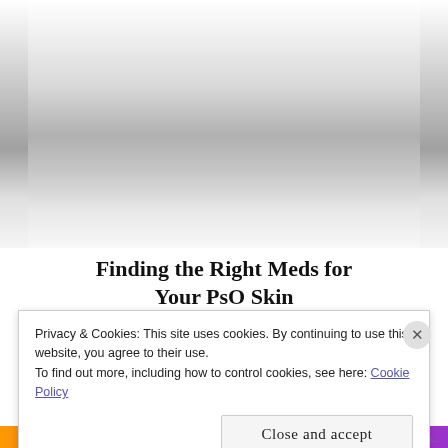[Figure (photo): Large photo area, mostly white/gray gradient, appears to be a blurred or faded medical/skin related image]
Finding the Right Meds for Your PsO Skin
Privacy & Cookies: This site uses cookies. By continuing to use this website, you agree to their use.
To find out more, including how to control cookies, see here: Cookie Policy
Close and accept